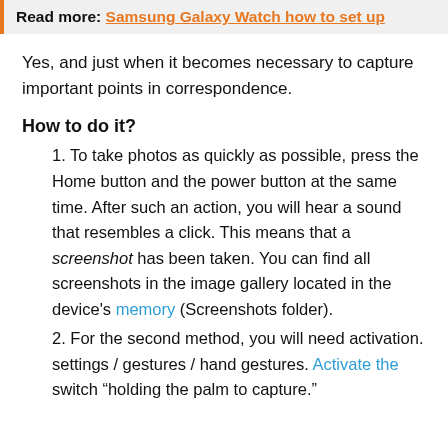Read more: Samsung Galaxy Watch how to set up
Yes, and just when it becomes necessary to capture important points in correspondence.
How to do it?
1. To take photos as quickly as possible, press the Home button and the power button at the same time. After such an action, you will hear a sound that resembles a click. This means that a screenshot has been taken. You can find all screenshots in the image gallery located in the device's memory (Screenshots folder).
2. For the second method, you will need activation. settings / gestures / hand gestures. Activate the switch "holding the palm to capture."